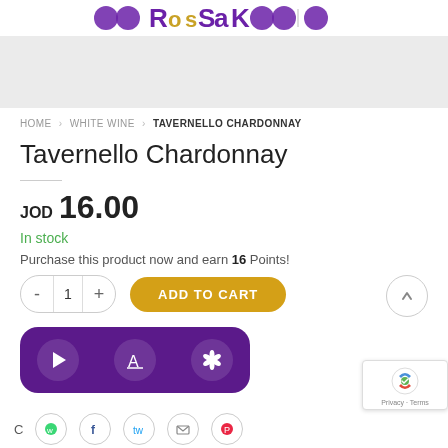ROSAK (logo)
[Figure (photo): Product image area - light gray placeholder]
HOME › WHITE WINE › TAVERNELLO CHARDONNAY
Tavernello Chardonnay
JOD 16.00
In stock
Purchase this product now and earn 16 Points!
[Figure (screenshot): Quantity selector with minus, 1, plus buttons and yellow ADD TO CART button]
[Figure (screenshot): Purple app download bar with Google Play, App Store, and Huawei AppGallery icons]
[Figure (screenshot): reCAPTCHA badge at bottom right with Privacy and Terms links]
Social media icons: WhatsApp, Facebook, Twitter, Email, Pinterest